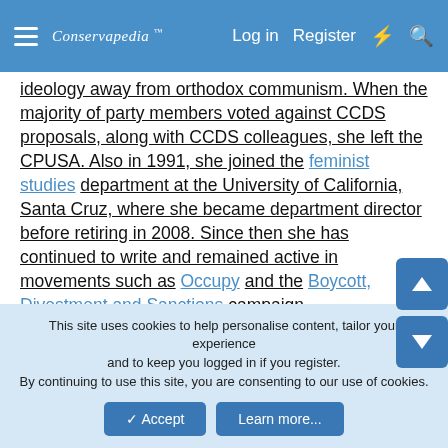Conservapedia  Log in  Register
ideology away from orthodox communism. When the majority of party members voted against CCDS proposals, along with CCDS colleagues, she left the CPUSA. Also in 1991, she joined the feminist studies department at the University of California, Santa Cruz, where she became department director before retiring in 2008. Since then she has continued to write and remained active in movements such as Occupy and the Boycott, Divestment and Sanctions campaign.
Davis is revered in France as folk-hero for reasons beyond my understanding.
This site uses cookies to help personalise content, tailor your experience and to keep you logged in if you register. By continuing to use this site, you are consenting to our use of cookies.